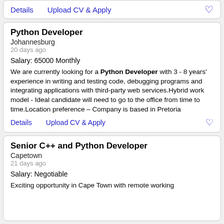Details   Upload CV & Apply   ♡
Python Developer
Johannesburg
20 days ago
Salary: 65000 Monthly
We are currently looking for a Python Developer with 3 - 8 years' experience in writing and testing code, debugging programs and integrating applications with third-party web services.Hybrid work model - Ideal candidate will need to go to the office from time to time.Location preference – Company is based in Pretoria
Details   Upload CV & Apply   ♡
Senior C++ and Python Developer
Capetown
21 days ago
Salary: Negotiable
Exciting opportunity in Cape Town with remote working